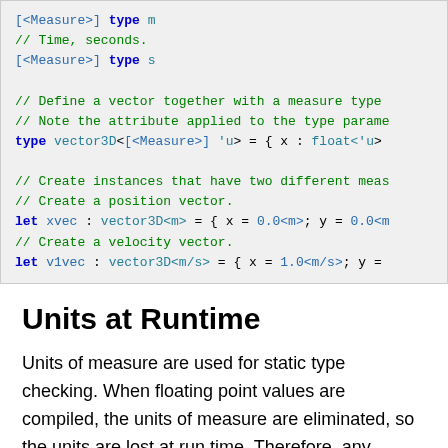[Figure (screenshot): Code block showing F# units of measure type definitions and vector instances with measure annotations]
Units at Runtime
Units of measure are used for static type checking. When floating point values are compiled, the units of measure are eliminated, so the units are lost at run time. Therefore, any attempt to implement functionality that depends on